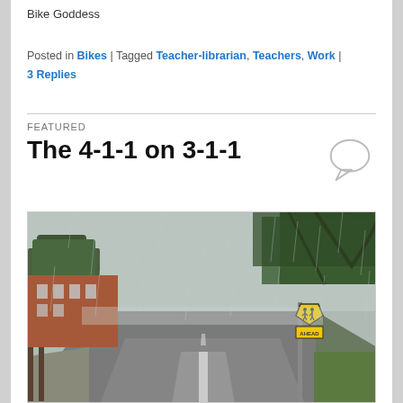Bike Goddess
Posted in Bikes | Tagged Teacher-librarian, Teachers, Work | 3 Replies
FEATURED
The 4-1-1 on 3-1-1
[Figure (photo): A rainy wet road scene with trees, a brick school building on the left, and a yellow school crossing sign (pentagon shape with children figures) and an AHEAD sign on the right side of the road. The road is wet and reflective under overcast skies.]